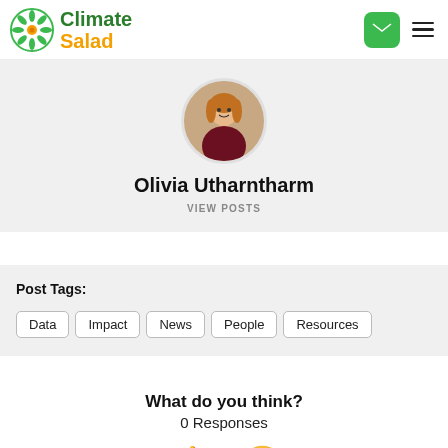Climate Salad
[Figure (photo): Profile photo of Olivia Utharntharm, a woman with long hair wearing a dark red top, displayed in a circular crop]
Olivia Utharntharm
VIEW POSTS
Post Tags:
Data
Impact
News
People
Resources
What do you think?
0 Responses
[Figure (illustration): Thumbs up emoji and heart-eyes emoji]